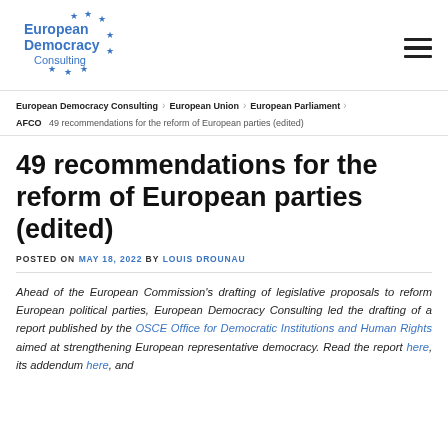[Figure (logo): European Democracy Consulting logo with blue stars and text]
European Democracy Consulting > European Union > European Parliament > AFCO  49 recommendations for the reform of European parties (edited)
49 recommendations for the reform of European parties (edited)
POSTED ON MAY 18, 2022 BY LOUIS DROUNAU
Ahead of the European Commission's drafting of legislative proposals to reform European political parties, European Democracy Consulting led the drafting of a report published by the OSCE Office for Democratic Institutions and Human Rights aimed at strengthening European representative democracy. Read the report here, its addendum here, and